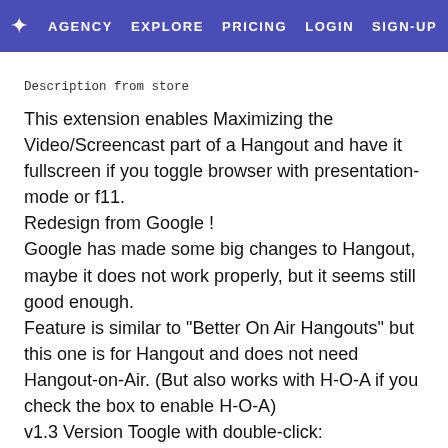AGENCY  EXPLORE  PRICING  LOGIN  SIGN-UP
Description from store
This extension enables Maximizing the Video/Screencast part of a Hangout and have it fullscreen if you toggle browser with presentation-mode or f11.
Redesign from Google !
Google has made some big changes to Hangout, maybe it does not work properly, but it seems still good enough.
Feature is similar to "Better On Air Hangouts" but this one is for Hangout and does not need Hangout-on-Air. (But also works with H-O-A if you check the box to enable H-O-A)
v1.3 Version Toogle with double-click: